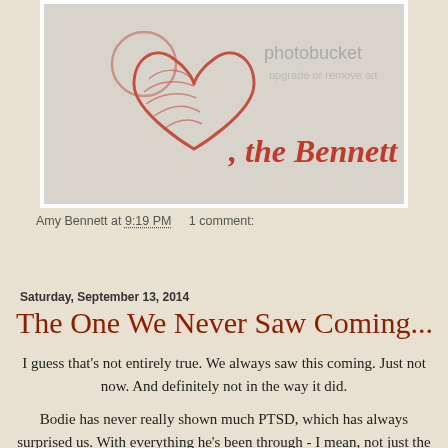[Figure (illustration): Blog banner image showing a red heart sketch with the text ', the Bennett Four' in red script on a light gray background, with a Photobucket watermark overlay.]
Amy Bennett at 9:19 PM   1 comment:
Share
Saturday, September 13, 2014
The One We Never Saw Coming...
I guess that's not entirely true. We always saw this coming. Just not now. And definitely not in the way it did.
Bodie has never really shown much PTSD, which has always surprised us. With everything he's been through - I mean, not just the heart stuff, but everything - the burglary, the fire, Dusk's health issues and the heart stuff - we figured the PTSD had to be there